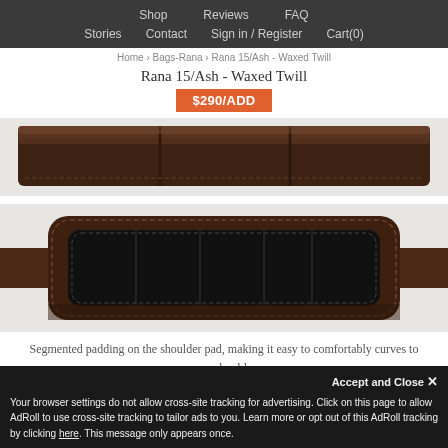Shop  Reviews  FAQ  Stories  Contact  Sign in / Register  Cart(0)
Home › Bags-Rana › Rana 15/Ash - Waxed Twill
Rana 15/Ash - Waxed Twill
$290/ADD
[Figure (photo): Close-up of dark brown leather shoulder strap with stitching, top view]
[Figure (photo): Dark brown leather shoulder pad with black segmented fabric padding inset, front view]
Segmented padding on the shoulder pad, making it easy to comfortably curves to your shoulder.
[Figure (photo): Partial view of dark product at bottom of page]
Accept and Close ✕
Your browser settings do not allow cross-site tracking for advertising. Click on this page to allow AdRoll to use cross-site tracking to tailor ads to you. Learn more or opt out of this AdRoll tracking by clicking here. This message only appears once.